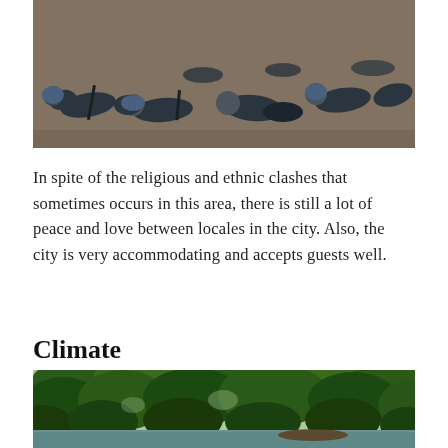[Figure (photo): Soldiers or police officers in dark uniforms lying prone on the ground, seen from behind, in an outdoor setting.]
In spite of the religious and ethnic clashes that sometimes occurs in this area, there is still a lot of peace and love between locales in the city. Also, the city is very accommodating and accepts guests well.
Climate
[Figure (photo): A lush tropical jungle scene with dense green trees and vegetation along a riverbank or water's edge.]